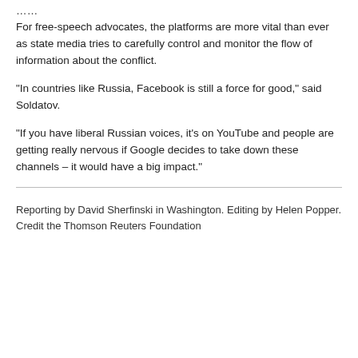For free-speech advocates, the platforms are more vital than ever as state media tries to carefully control and monitor the flow of information about the conflict.
“In countries like Russia, Facebook is still a force for good,” said Soldatov.
“If you have liberal Russian voices, it’s on YouTube and people are getting really nervous if Google decides to take down these channels – it would have a big impact.”
Reporting by David Sherfinski in Washington. Editing by Helen Popper. Credit the Thomson Reuters Foundation